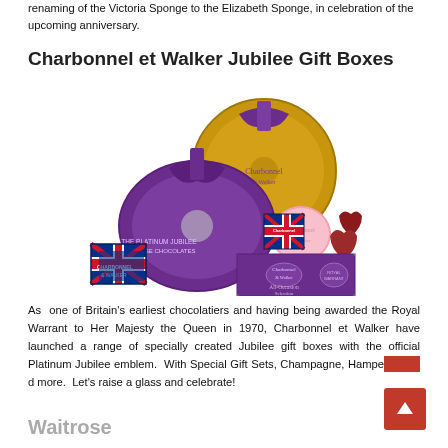renaming of the Victoria Sponge to the Elizabeth Sponge, in celebration of the upcoming anniversary.
Charbonnel et Walker Jubilee Gift Boxes
[Figure (photo): Photo of Charbonnel et Walker Jubilee gift boxes including a large gold round tin with purple ribbon, a large purple oval tin with purple ribbon, small Union Jack boxes, a pink round tin, heart-shaped chocolates, and a purple rectangular box. Items are arranged in a cluster.]
As one of Britain's earliest chocolatiers and having being awarded the Royal Warrant to Her Majesty the Queen in 1970, Charbonnel et Walker have launched a range of specially created Jubilee gift boxes with the official Platinum Jubilee emblem. With Special Gift Sets, Champagne, Hampers and more. Let's raise a glass and celebrate!
Waitrose